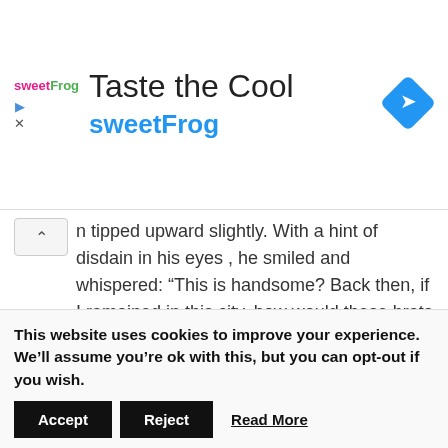[Figure (logo): sweetFrog yogurt brand advertisement banner with logo text 'sweetFrog', large title 'Taste the Cool', a blue navigation diamond icon, and play/close icons on the left.]
n tipped upward slightly.  With a hint of disdain in his eyes , he smiled and whispered: “This is handsome? Back then, if I remained in this city, how would these brats cause such a commotion?”
“Say, where do you think these Young Masters, the big shots of the city are going this early in the morning?”
Some people were confused. Usually one can barely see any of
This website uses cookies to improve your experience. We’ll assume you’re ok with this, but you can opt-out if you wish.